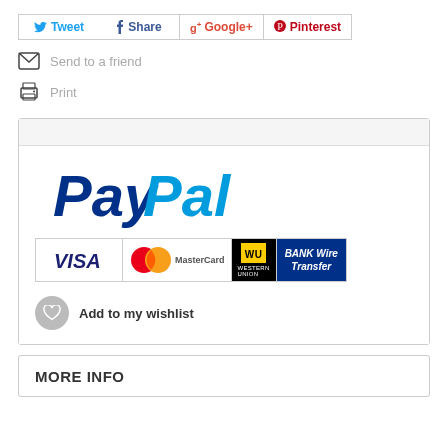[Figure (infographic): Social share bar with Tweet, Share, Google+, and Pinterest buttons]
Send to a friend
Print
[Figure (logo): PayPal logo with payment method icons: VISA, MasterCard, Western Union, BANK Wire Transfer]
Add to my wishlist
MORE INFO